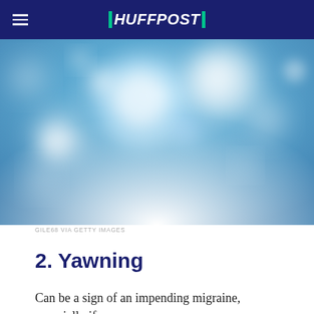HUFFPOST
[Figure (photo): Blurred bokeh background with blue and white circular light orbs, fading to white at the bottom. Dreamy, out-of-focus light bubbles on a blue background.]
GILE68 VIA GETTY IMAGES
2. Yawning
Can be a sign of an impending migraine, especially if